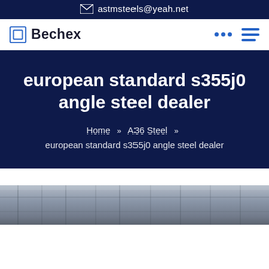astmsteels@yeah.net
Bechex
european standard s355j0 angle steel dealer
Home » A36 Steel » european standard s355j0 angle steel dealer
[Figure (photo): Partial view of a steel warehouse or industrial facility showing steel beams and structure from below]